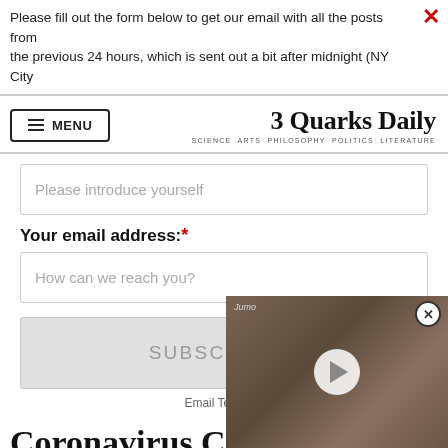Please fill out the form below to get our email with all the posts from the previous 24 hours, which is sent out a bit after midnight (NY City
3 Quarks Daily — SCIENCE ARTS PHILOSOPHY POLITICS LITERATURE
Please introduce yourself
Your email address: *
How can we reach you?
SUBSCRIBE »
Email Terms of...
Coronavirus COVID-19...
PLEASE CLI...